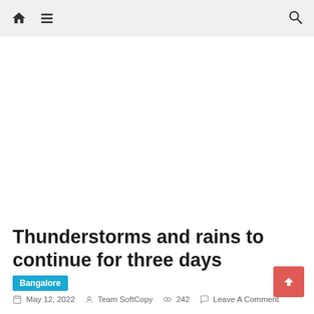Navigation bar with home icon, menu icon, and search icon
[Figure (other): Blank white advertisement or image placeholder area]
Thunderstorms and rains to continue for three days
Bangalore
May 12, 2022   Team SoftCopy   242   Leave A Comment